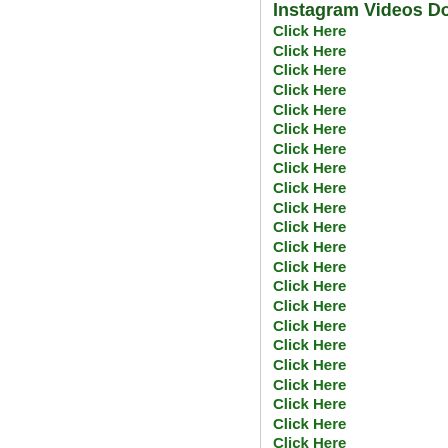Instagram Videos Downloader
Click Here
Click Here
Click Here
Click Here
Click Here
Click Here
Click Here
Click Here
Click Here
Click Here
Click Here
Click Here
Click Here
Click Here
Click Here
Click Here
Click Here
Click Here
Click Here
Click Here
Click Here
Click Here